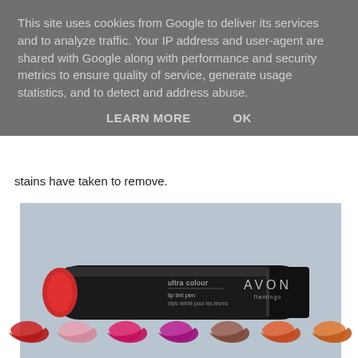This site uses cookies from Google to deliver its services and to analyze traffic. Your IP address and user-agent are shared with Google along with performance and security metrics to ensure quality of service, generate usage statistics, and to detect and address abuse.
LEARN MORE    OK
stains have taken to remove.
[Figure (photo): Avon Ultra Colour lip tint pen in Flamingo shade - a black cylindrical pen with red lip color tip, showing product label text 'ultra colour lip tint pen / stylo teinté pour les lèvres' and AVON Flamingo branding]
[Figure (illustration): Row of lip swatch illustrations in various shades: red, pink, hot pink, magenta/purple, brown/mauve, coral/orange]